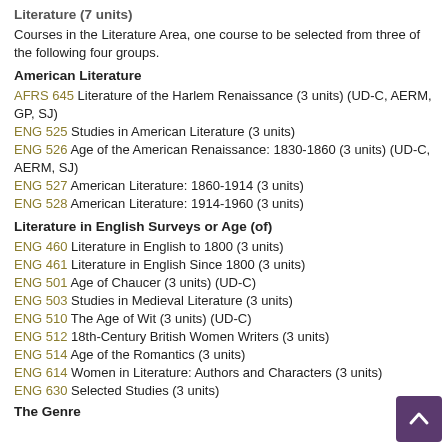Literature (7 units)
Courses in the Literature Area, one course to be selected from three of the following four groups.
American Literature
AFRS 645 Literature of the Harlem Renaissance (3 units) (UD-C, AERM, GP, SJ)
ENG 525 Studies in American Literature (3 units)
ENG 526 Age of the American Renaissance: 1830-1860 (3 units) (UD-C, AERM, SJ)
ENG 527 American Literature: 1860-1914 (3 units)
ENG 528 American Literature: 1914-1960 (3 units)
Literature in English Surveys or Age (of)
ENG 460 Literature in English to 1800 (3 units)
ENG 461 Literature in English Since 1800 (3 units)
ENG 501 Age of Chaucer (3 units) (UD-C)
ENG 503 Studies in Medieval Literature (3 units)
ENG 510 The Age of Wit (3 units) (UD-C)
ENG 512 18th-Century British Women Writers (3 units)
ENG 514 Age of the Romantics (3 units)
ENG 614 Women in Literature: Authors and Characters (3 units)
ENG 630 Selected Studies (3 units)
The Genre